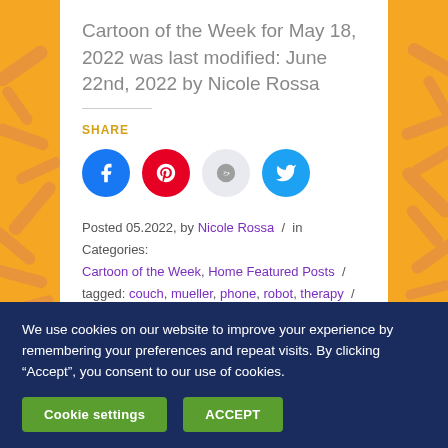Cartoon of the Week for May 18, 2022 was last modified: June 22nd, 2022 by Nicole Rossa
SHARE
[Figure (infographic): Social share buttons: Facebook (blue circle), Pinterest (red circle), Reddit (light blue circle), Twitter (blue circle)]
Posted 05.2022, by Nicole Rossa / in Categories: Cartoon of the Week, Home Featured Posts / tagged: couch, mueller, phone, robot, therapy / Leave a Comment /
We use cookies on our website to improve your experience by remembering your preferences and repeat visits. By clicking “Accept”, you consent to our use of cookies.